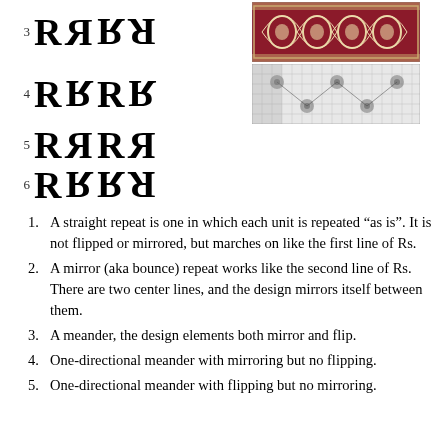[Figure (illustration): Row 3: Four R letters showing mirror/flip variants (R, mirrored-R, flipped-R, rotated-R) with a red and cream decorative fabric strip on the right]
[Figure (illustration): Row 4: Four R letters showing meander variants with a black and white lace fabric strip on the right]
[Figure (illustration): Row 5: Four R letters showing one-directional meander with mirroring variants (no fabric image)]
[Figure (illustration): Row 6: Four R letters showing one-directional meander with flipping variants (no fabric image)]
A straight repeat is one in which each unit is repeated “as is”. It is not flipped or mirrored, but marches on like the first line of Rs.
A mirror (aka bounce) repeat works like the second line of Rs. There are two center lines, and the design mirrors itself between them.
A meander, the design elements both mirror and flip.
One-directional meander with mirroring but no flipping.
One-directional meander with flipping but no mirroring.